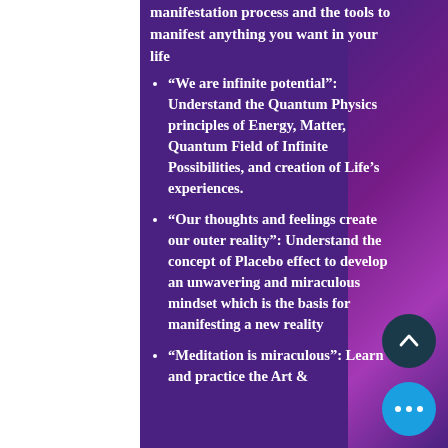manifestation process and the tools to manifest anything you want in your life
“We are infinite potential”: Understand the Quantum Physics principles of Energy, Matter, Quantum Field of Infinite Possibilities, and creation of Life’s experiences.
“Our thoughts and feelings create our outer reality”: Understand the concept of Placebo effect to develop an unwavering and miraculous mindset which is the basis for manifesting a new reality
“Meditation is miraculous”: Learn and practice the Art &